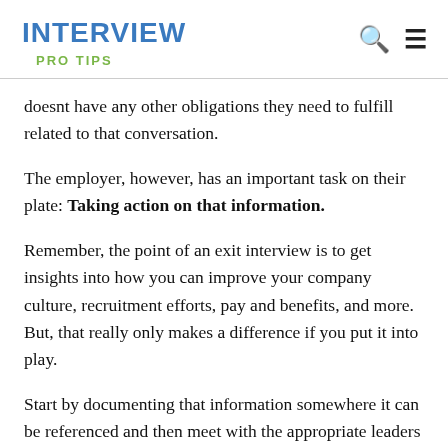INTERVIEW
PRO TIPS
doesnt have any other obligations they need to fulfill related to that conversation.
The employer, however, has an important task on their plate: Taking action on that information.
Remember, the point of an exit interview is to get insights into how you can improve your company culture, recruitment efforts, pay and benefits, and more. But, that really only makes a difference if you put it into play.
Start by documenting that information somewhere it can be referenced and then meet with the appropriate leaders and decision-makers to determine how youll put those answers to work.